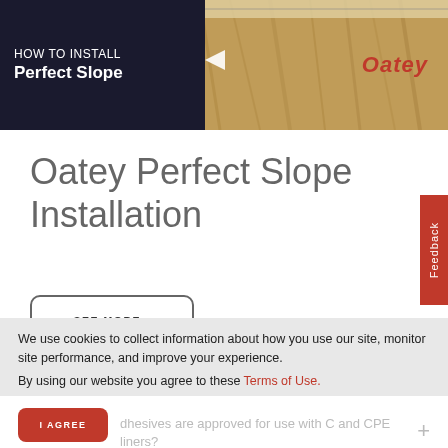[Figure (photo): How to Install Perfect Slope banner with dark overlay on left showing text, and wood/OSB board background on right with Oatey logo in red]
Oatey Perfect Slope Installation
SEE MORE ›
Feedback
We use cookies to collect information about how you use our site, monitor site performance, and improve your experience.
By using our website you agree to these Terms of Use.
I AGREE
dhesives are approved for use with C and CPE liners?